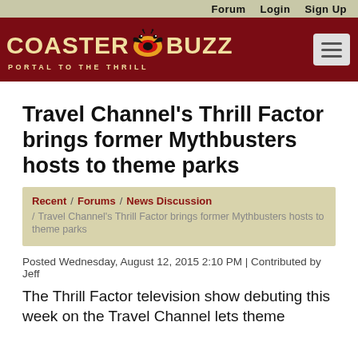Forum  Login  Sign Up
[Figure (logo): CoasterBuzz logo with bat/coaster icon, subtitle 'PORTAL TO THE THRILL' on dark red header bar]
Travel Channel's Thrill Factor brings former Mythbusters hosts to theme parks
Recent / Forums / News Discussion / Travel Channel's Thrill Factor brings former Mythbusters hosts to theme parks
Posted Wednesday, August 12, 2015 2:10 PM | Contributed by Jeff
The Thrill Factor television show debuting this week on the Travel Channel lets theme